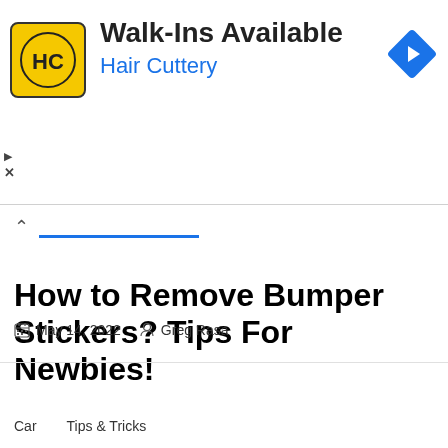[Figure (screenshot): Hair Cuttery advertisement banner with yellow logo showing 'HC' initials, text 'Walk-Ins Available' and 'Hair Cuttery' in blue, and a blue navigation diamond icon on the right]
How to Remove Bumper Stickers? Tips For Newbies!
May 14, 2022   Greg Rasa
Car    Tips & Tricks